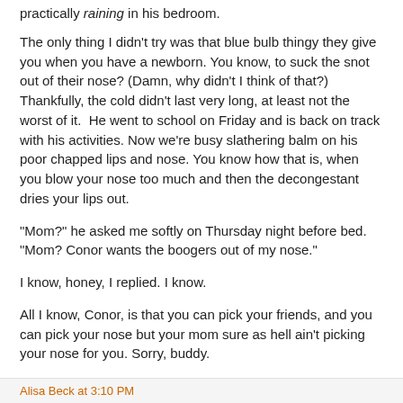practically raining in his bedroom.
The only thing I didn't try was that blue bulb thingy they give you when you have a newborn. You know, to suck the snot out of their nose? (Damn, why didn't I think of that?) Thankfully, the cold didn't last very long, at least not the worst of it. He went to school on Friday and is back on track with his activities. Now we're busy slathering balm on his poor chapped lips and nose. You know how that is, when you blow your nose too much and then the decongestant dries your lips out.
"Mom?" he asked me softly on Thursday night before bed. "Mom? Conor wants the boogers out of my nose."
I know, honey, I replied. I know.
All I know, Conor, is that you can pick your friends, and you can pick your nose but your mom sure as hell ain't picking your nose for you. Sorry, buddy.
Alisa Beck at 3:10 PM